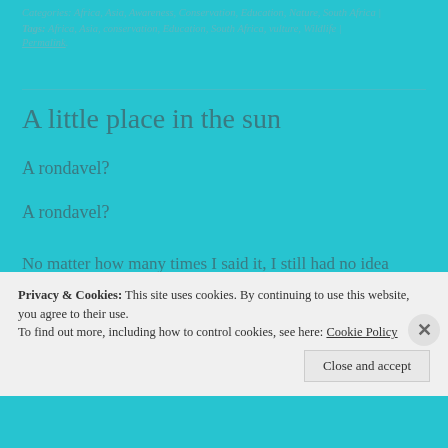Categories: Africa, Asia, Awareness, Conservation, Education, Nature, South Africa | Tags: Africa, Asia, conservation, Education, South Africa, vulture, Wildlife | Permalink.
A little place in the sun
A rondavel?
A rondavel?
No matter how many times I said it, I still had no idea what the hell a rondavel was. As it turns out, a rondavel is an adorable round brick cottage. Yes, a round house! The only
Privacy & Cookies: This site uses cookies. By continuing to use this website, you agree to their use. To find out more, including how to control cookies, see here: Cookie Policy
Close and accept